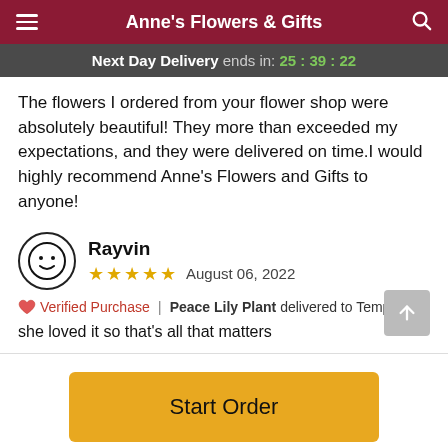Anne's Flowers & Gifts
Next Day Delivery ends in: 25:39:22
The flowers I ordered from your flower shop were absolutely beautiful! They more than exceeded my expectations, and they were delivered on time.I would highly recommend Anne's Flowers and Gifts to anyone!
Rayvin
★★★★★  August 06, 2022
Verified Purchase | Peace Lily Plant delivered to Tempe, AZ
she loved it so that's all that matters
Start Order